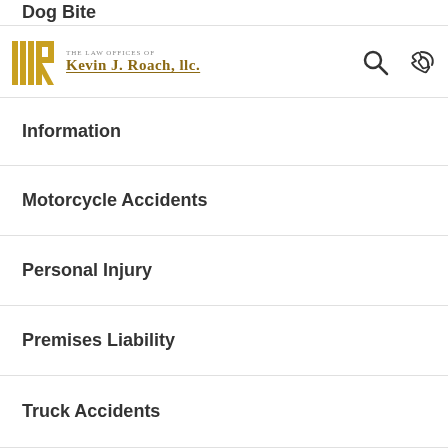The Law Offices of Kevin J. Roach, LLC
Dog Bite
Information
Motorcycle Accidents
Personal Injury
Premises Liability
Truck Accidents
Uncategorized
Workers' Compensation
Wrongful Death